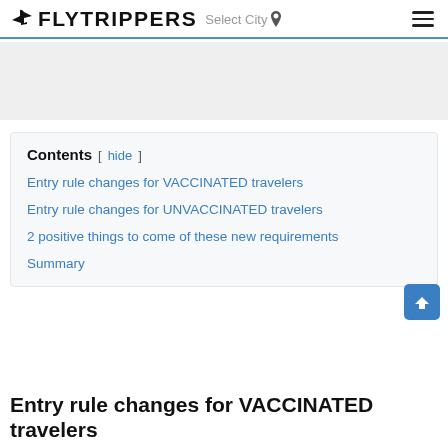FLYTRIPPERS  Select City
[Figure (other): Advertisement banner placeholder, light gray background]
Contents
Entry rule changes for VACCINATED travelers
Entry rule changes for UNVACCINATED travelers
2 positive things to come of these new requirements
Summary
Entry rule changes for VACCINATED travelers